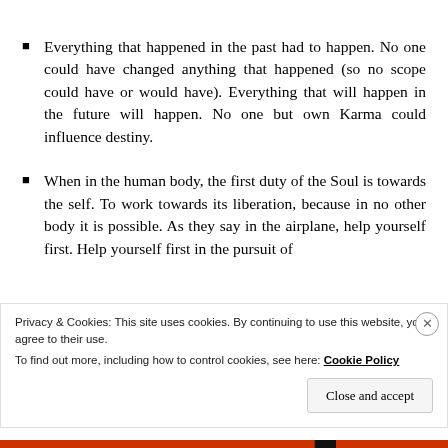Everything that happened in the past had to happen. No one could have changed anything that happened (so no scope could have or would have). Everything that will happen in the future will happen. No one but own Karma could influence destiny.
When in the human body, the first duty of the Soul is towards the self. To work towards its liberation, because in no other body it is possible. As they say in the airplane, help yourself first. Help yourself first in the pursuit of
Privacy & Cookies: This site uses cookies. By continuing to use this website, you agree to their use. To find out more, including how to control cookies, see here: Cookie Policy